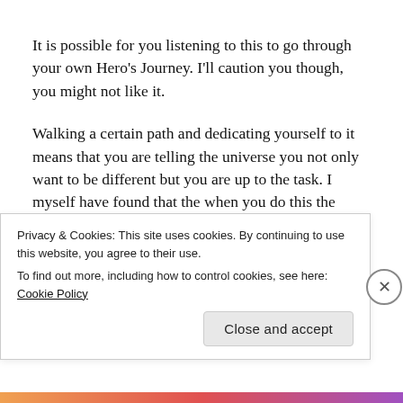It is possible for you listening to this to go through your own Hero's Journey. I'll caution you though, you might not like it.
Walking a certain path and dedicating yourself to it means that you are telling the universe you not only want to be different but you are up to the task. I myself have found that the when you do this the powers that be are going to help you get there but it will be through exactly this process. What you get on the other side of it is a completely different you. This
Privacy & Cookies: This site uses cookies. By continuing to use this website, you agree to their use.
To find out more, including how to control cookies, see here: Cookie Policy